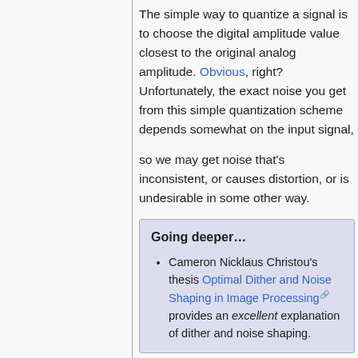The simple way to quantize a signal is to choose the digital amplitude value closest to the original analog amplitude. Obvious, right? Unfortunately, the exact noise you get from this simple quantization scheme depends somewhat on the input signal,
so we may get noise that's inconsistent, or causes distortion, or is undesirable in some other way.
Going deeper…
Cameron Nicklaus Christou's thesis Optimal Dither and Noise Shaping in Image Processing provides an excellent explanation of dither and noise shaping.